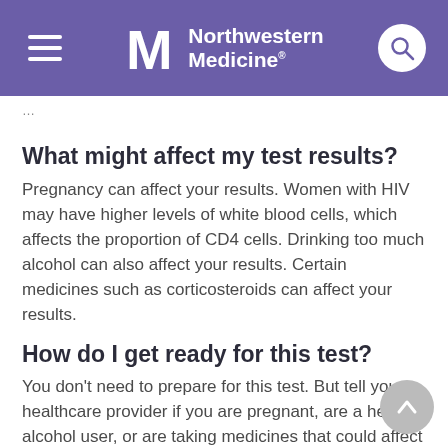Northwestern Medicine
What might affect my test results?
Pregnancy can affect your results. Women with HIV may have higher levels of white blood cells, which affects the proportion of CD4 cells. Drinking too much alcohol can also affect your results. Certain medicines such as corticosteroids can affect your results.
How do I get ready for this test?
You don't need to prepare for this test. But tell your healthcare provider if you are pregnant, are a heavy alcohol user, or are taking medicines that could affect your white blood cell count. Be sure your provider knows about all medicines, herbs, vitamins, and supplements you are taking. This